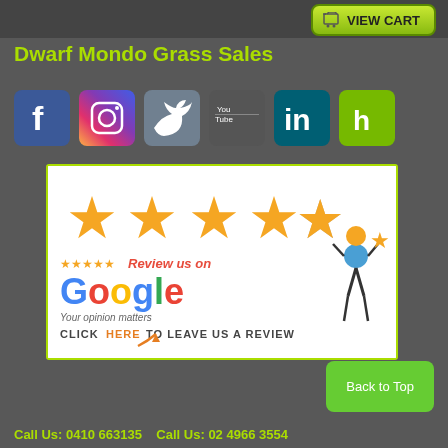[Figure (screenshot): View Cart button with shopping cart icon, green button in top right corner]
Dwarf Mondo Grass Sales
[Figure (infographic): Social media icons: Facebook, Instagram, Twitter, YouTube, LinkedIn, Houzz]
[Figure (infographic): Google Review banner with 5 gold stars, text 'Review us on Google', 'Your opinion matters', 'CLICK HERE TO LEAVE US A REVIEW', person holding a star illustration]
[Figure (screenshot): Back to Top green button]
Call Us: 0410 663135    Call Us: 02 4966 3554